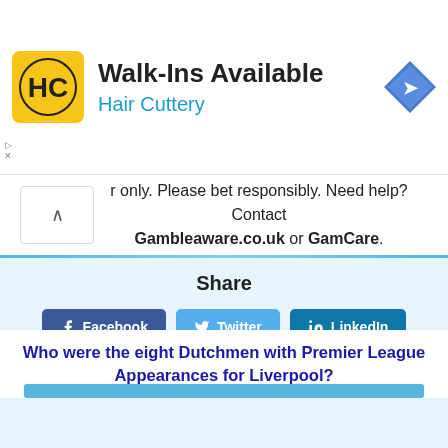[Figure (screenshot): Hair Cuttery advertisement banner with yellow HC logo, 'Walk-Ins Available' headline, 'Hair Cuttery' subtitle in blue, and a blue navigation diamond icon]
only. Please bet responsibly. Need help? Contact Gambleaware.co.uk or GamCare.
Share
Facebook  Twitter  LinkedIn
This website uses cookies to ensure you get
Who were the eight Dutchmen with Premier League Appearances for Liverpool?
Answer